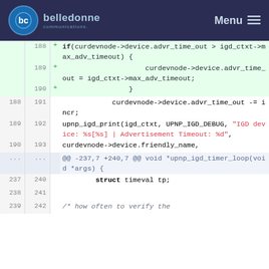belledonne communications — Menu
188 + if(curdevnode->device.advr_time_out > igd_ctxt->max_adv_timeout) {
189 + curdevnode->device.advr_time_out = igd_ctxt->max_adv_timeout;
190 + }
188 191   curdevnode->device.advr_time_out -= incr;
189 192   upnp_igd_print(igd_ctxt, UPNP_IGD_DEBUG, "IGD device: %s[%s] | Advertisement Timeout: %d",
190 193   curdevnode->device.friendly_name,
... ...   @@ -237,7 +240,7 @@ void *upnp_igd_timer_loop(void *args) {
237 240   struct timeval tp;
238 241
239 242   /* how often to verify the